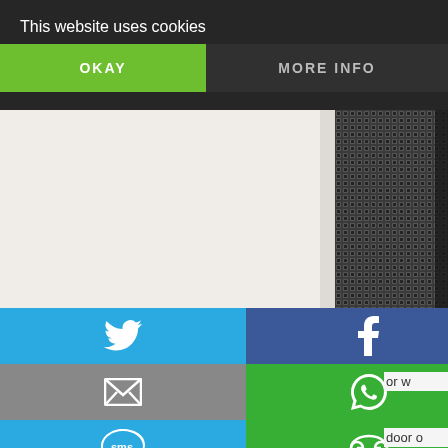This website uses cookies
OKAY
MORE INFO
[Figure (photo): Close-up of a dark mesh/screen material, possibly a window or door screen, with visible mesh grid pattern]
[Figure (infographic): Social sharing buttons grid: Twitter (blue), Facebook (dark blue), Email (gray), WhatsApp (green), SMS (blue), and a link/share icon (green)]
or w
door o